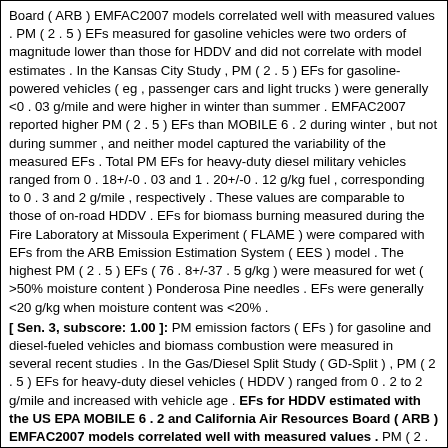Board ( ARB ) EMFAC2007 models correlated well with measured values . PM ( 2 . 5 ) EFs measured for gasoline vehicles were two orders of magnitude lower than those for HDDV and did not correlate with model estimates . In the Kansas City Study , PM ( 2 . 5 ) EFs for gasoline-powered vehicles ( eg , passenger cars and light trucks ) were generally <0 . 03 g/mile and were higher in winter than summer . EMFAC2007 reported higher PM ( 2 . 5 ) EFs than MOBILE 6 . 2 during winter , but not during summer , and neither model captured the variability of the measured EFs . Total PM EFs for heavy-duty diesel military vehicles ranged from 0 . 18+/-0 . 03 and 1 . 20+/-0 . 12 g/kg fuel , corresponding to 0 . 3 and 2 g/mile , respectively . These values are comparable to those of on-road HDDV . EFs for biomass burning measured during the Fire Laboratory at Missoula Experiment ( FLAME ) were compared with EFs from the ARB Emission Estimation System ( EES ) model . The highest PM ( 2 . 5 ) EFs ( 76 . 8+/-37 . 5 g/kg ) were measured for wet ( >50% moisture content ) Ponderosa Pine needles . EFs were generally <20 g/kg when moisture content was <20% .
[ Sen. 3, subscore: 1.00 ]: PM emission factors ( EFs ) for gasoline and diesel-fueled vehicles and biomass combustion were measured in several recent studies . In the Gas/Diesel Split Study ( GD-Split ) , PM ( 2 . 5 ) EFs for heavy-duty diesel vehicles ( HDDV ) ranged from 0 . 2 to 2 g/mile and increased with vehicle age . EFs for HDDV estimated with the US EPA MOBILE 6 . 2 and California Air Resources Board ( ARB ) EMFAC2007 models correlated well with measured values . PM ( 2 . 5 ) EFs measured for gasoline vehicles were two orders of magnitude lower than those for HDDV and did not correlate with model estimates . In the Kansas City Study , PM ( 2 . 5 ) EFs for gasoline-powered vehicles ( eg , passenger cars and light trucks ) were generally <0 . 03 g/mile and were higher in winter than summer . EMFAC2007 reported higher PM ( 2 . 5 ) EFs than MOBILE 6 . 2 during winter , but not during summer , and